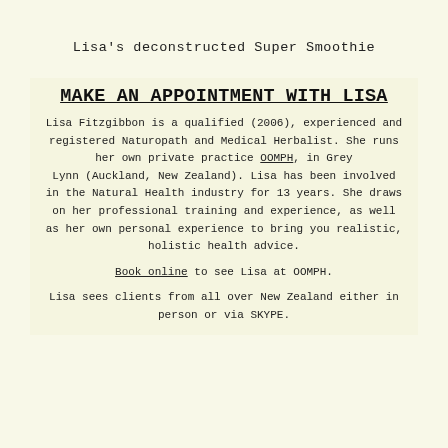Lisa's deconstructed Super Smoothie
MAKE AN APPOINTMENT WITH LISA
Lisa Fitzgibbon is a qualified (2006), experienced and registered Naturopath and Medical Herbalist. She runs her own private practice OOMPH, in Grey Lynn (Auckland, New Zealand). Lisa has been involved in the Natural Health industry for 13 years. She draws on her professional training and experience, as well as her own personal experience to bring you realistic, holistic health advice.
Book online to see Lisa at OOMPH.
Lisa sees clients from all over New Zealand either in person or via SKYPE.